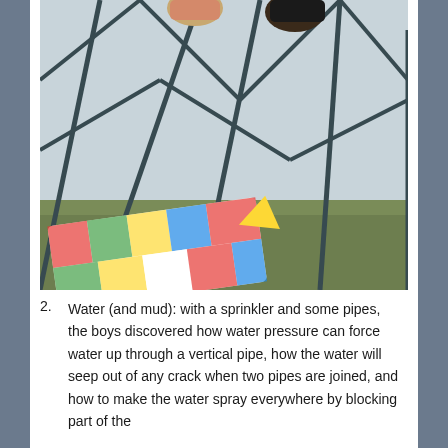[Figure (photo): Interior view of a dome-shaped tent or geodesic play structure with a blue-grey fabric cover and dark metal frame. Two children are visible at the top of the frame. A colorful patterned blanket (with red, green, blue, yellow geometric designs on white background) lies on the grass floor inside the tent.]
2. Water (and mud): with a sprinkler and some pipes, the boys discovered how water pressure can force water up through a vertical pipe, how the water will seep out of any crack when two pipes are joined, and how to make the water spray everywhere by blocking part of the